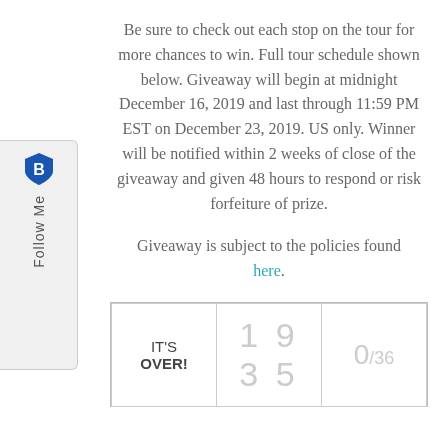[Figure (other): Follow Me sidebar widget with a shield/badge icon and vertical 'Follow Me' text]
Be sure to check out each stop on the tour for more chances to win. Full tour schedule shown below. Giveaway will begin at midnight December 16, 2019 and last through 11:59 PM EST on December 23, 2019. US only. Winner will be notified within 2 weeks of close of the giveaway and given 48 hours to respond or risk forfeiture of prize.
Giveaway is subject to the policies found here.
| IT'S OVER! | 1 9 3 5 | 0/36 |